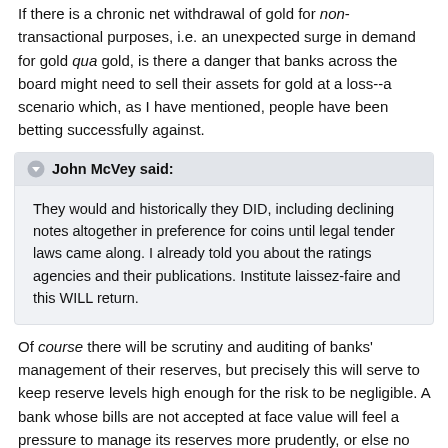If there is a chronic net withdrawal of gold for non-transactional purposes, i.e. an unexpected surge in demand for gold qua gold, is there a danger that banks across the board might need to sell their assets for gold at a loss--a scenario which, as I have mentioned, people have been betting successfully against.
John McVey said: They would and historically they DID, including declining notes altogether in preference for coins until legal tender laws came along. I already told you about the ratings agencies and their publications. Institute laissez-faire and this WILL return.
Of course there will be scrutiny and auditing of banks' management of their reserves, but precisely this will serve to keep reserve levels high enough for the risk to be negligible. A bank whose bills are not accepted at face value will feel a pressure to manage its reserves more prudently, or else no one will use their bills. It's all about the advertising effect with those bills, as someone whose opinions you hopefully respect is often